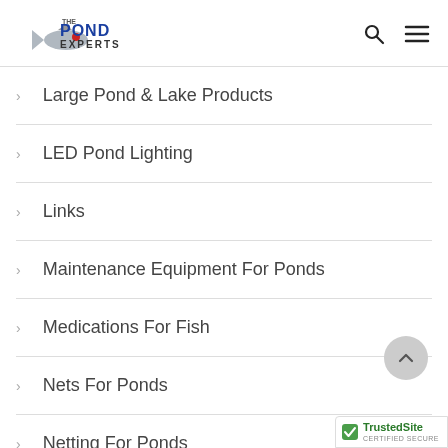The Pond Experts
Large Pond & Lake Products
LED Pond Lighting
Links
Maintenance Equipment For Ponds
Medications For Fish
Nets For Ponds
Netting For Ponds